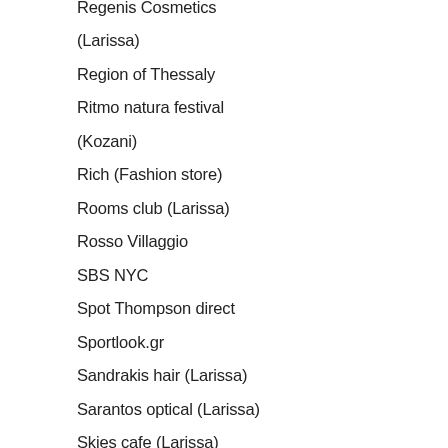Regenis Cosmetics
(Larissa)
Region of Thessaly
Ritmo natura festival
(Kozani)
Rich (Fashion store)
Rooms club (Larissa)
Rosso Villaggio
SBS NYC
Spot Thompson direct
Sportlook.gr
Sandrakis hair (Larissa)
Sarantos optical (Larissa)
Skies cafe (Larissa)
Skyfall Rooftop (Larissa)